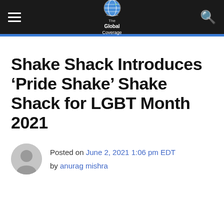The Global Coverage
Shake Shack Introduces ‘Pride Shake’ Shake Shack for LGBT Month 2021
Posted on June 2, 2021 1:06 pm EDT by anurag mishra